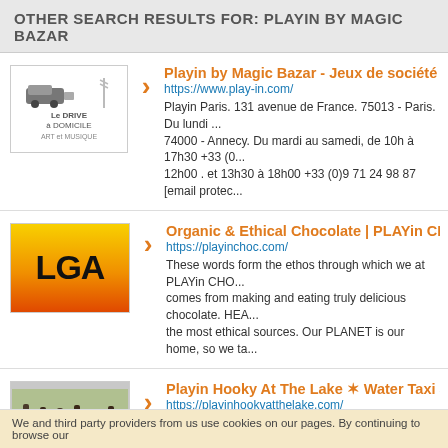OTHER SEARCH RESULTS FOR: PLAYIN BY MAGIC BAZAR
[Figure (screenshot): Thumbnail image for Playin by Magic Bazar with a van and 'Le DRIVE à DOMICILE ART et MUSIQUE' text]
Playin by Magic Bazar - Jeux de société & ca
https://www.play-in.com/
Playin Paris. 131 avenue de France. 75013 - Paris. Du lundi ... 74000 - Annecy. Du mardi au samedi, de 10h à 17h30 +33 (0... 12h00 . et 13h30 à 18h00 +33 (0)9 71 24 98 87 [email protec...
[Figure (logo): LGA logo - orange/yellow gradient background with LGA in black bold text]
Organic & Ethical Chocolate | PLAYin CHOC
https://playinchoc.com/
These words form the ethos through which we at PLAYin CHO... comes from making and eating truly delicious chocolate. HEA... the most ethical sources. Our PLANET is our home, so we ta...
[Figure (photo): Thumbnail showing people/crowd with laboutiquedescenfants.com watermark]
Playin Hooky At The Lake ✶ Water Taxi and C
https://playinhookyatthelake.com/
Playin Hooky Water Taxi & Charters LLC. Located at Lake of... Gravois Arm to Coconuts Caribbean Beach Bar & Grill. Opera...
We and third party providers from us use cookies on our pages. By continuing to browse our